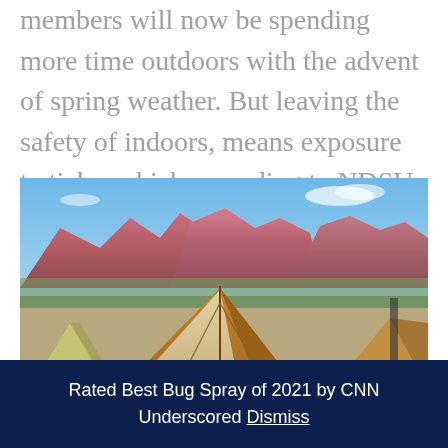members will now be spending more time outdoors with the advent of spring weather. But leaving the safety of indoors, means exposure to ticks, which according to NDSU Extension…
[Figure (photo): Outdoor glamping tents with orange canvas roofs in the foreground, set against dramatic red rock canyon formations under a blue sky — likely Zion National Park area.]
Rated Best Bug Spray of 2021 by CNN Underscored Dismiss